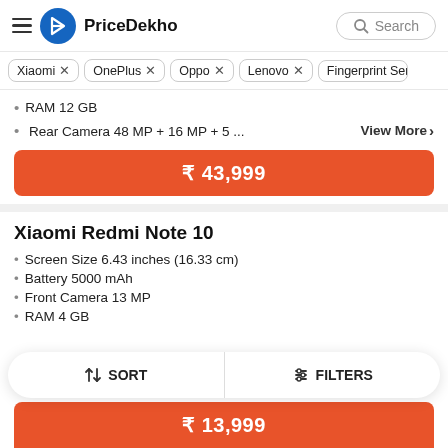PriceDekho
Xiaomi ×
OnePlus ×
Oppo ×
Lenovo ×
Fingerprint Senso...
RAM 12 GB
Rear Camera 48 MP + 16 MP + 5 ...
₹ 43,999
Xiaomi Redmi Note 10
Screen Size 6.43 inches (16.33 cm)
Battery 5000 mAh
Front Camera 13 MP
RAM 4 GB
↓↑ SORT   |   ⫶ FILTERS
₹ 13,999